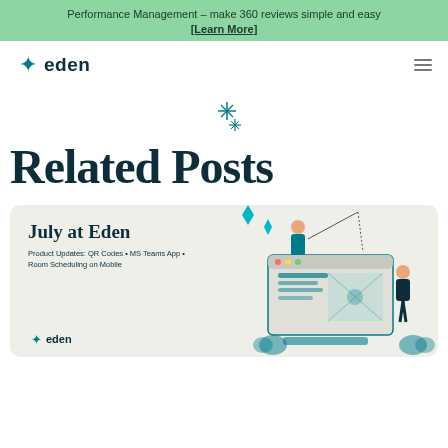Performance Management – make 360 reviews simple and easy [Learn More]
[Figure (logo): Eden logo with teal sparkle star and bold 'eden' text]
[Figure (illustration): Teal sparkle/star decorative element]
Related Posts
[Figure (illustration): Card thumbnail for 'July at Eden' blog post showing Eden logo and illustration of person working on a website/computer screen with teal decorative elements. Text: 'July at Eden', 'Product Updates: QR Codes • MS Teams App • Room Scheduling on Mobile']